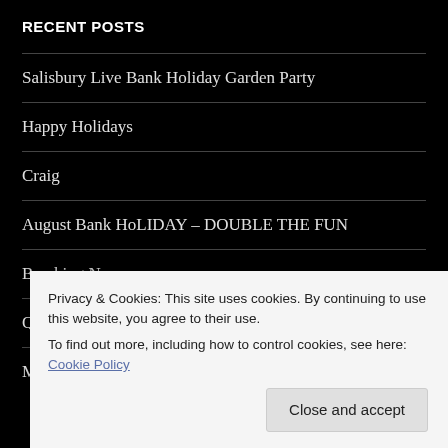RECENT POSTS
Salisbury Live Bank Holiday Garden Party
Happy Holidays
Craig
August Bank HoLIDAY – DOUBLE THE FUN
Breaking News
Qudos!
Music In The Park 2019
Privacy & Cookies: This site uses cookies. By continuing to use this website, you agree to their use. To find out more, including how to control cookies, see here: Cookie Policy